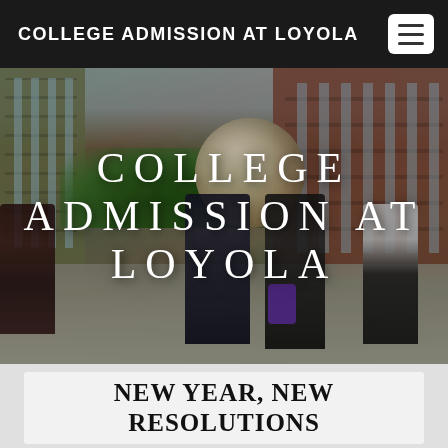COLLEGE ADMISSION AT LOYOLA
[Figure (photo): Campus photo showing students walking outdoors with brick buildings, trees, and a large circular stone sculpture in the background. Text overlay reads: COLLEGE ADMISSION AT LOYOLA]
NEW YEAR, NEW RESOLUTIONS